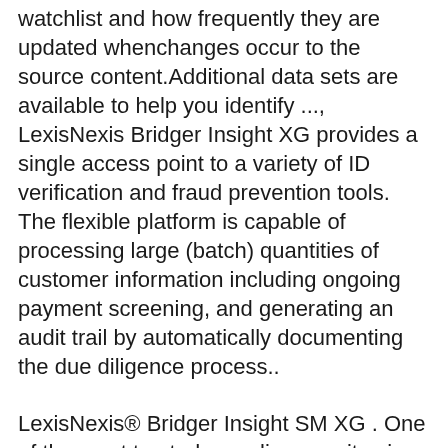watchlist and how frequently they are updated whenchanges occur to the source content.Additional data sets are available to help you identify ..., LexisNexis Bridger Insight XG provides a single access point to a variety of ID verification and fraud prevention tools. The flexible platform is capable of processing large (batch) quantities of customer information including ongoing payment screening, and generating an audit trail by automatically documenting the due diligence process..
LexisNexis® Bridger Insight SM XG . One of the most trusted compliance suites in the market, LexisNexis®